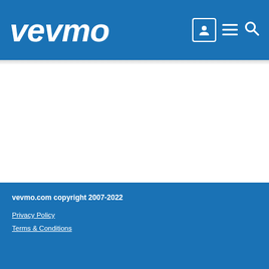vevmo
vevmo.com copyright 2007-2022
Privacy Policy
Terms & Conditions